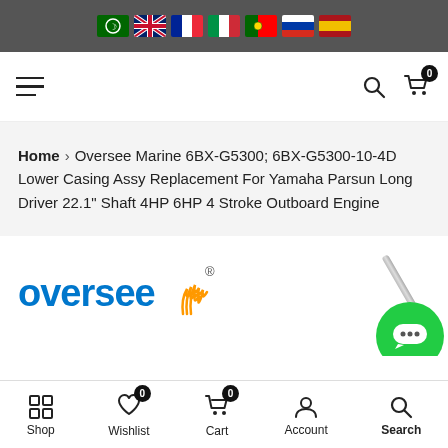Language flags navigation bar
[Figure (screenshot): Navigation bar with hamburger menu icon on left, search icon and shopping cart icon with badge '0' on right]
Home > Oversee Marine 6BX-G5300; 6BX-G5300-10-4D Lower Casing Assy Replacement For Yamaha Parsun Long Driver 22.1" Shaft 4HP 6HP 4 Stroke Outboard Engine
[Figure (logo): Oversee brand logo with blue text 'oversee' and orange flame/wave graphic with registered trademark symbol]
Shop  Wishlist  Cart  Account  Search